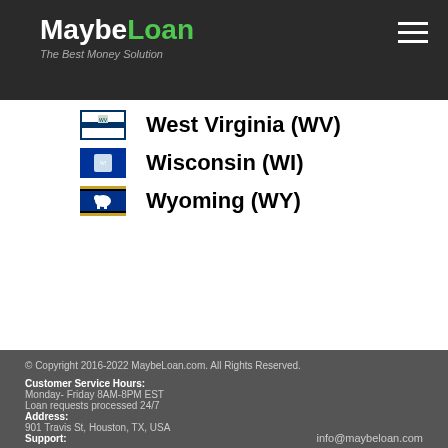MaybeLoan - The Best Money Solution
West Virginia (WV)
Wisconsin (WI)
Wyoming (WY)
© Copyright 2016-2022 MaybeLoan.com. All Rights Reserved. Customer Service Hours: Monday- Friday 8AM-8PM EST Loan requests processed 24/7 Address: 901 Travis St, Houston, TX, USA Support: info@maybeloan.com